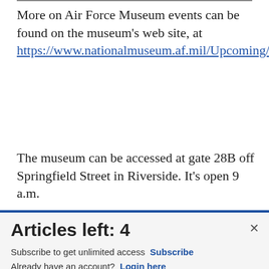More on Air Force Museum events can be found on the museum's web site, at https://www.nationalmuseum.af.mil/Upcoming/.
The museum can be accessed at gate 28B off Springfield Street in Riverside. It's open 9 a.m.
[Figure (screenshot): Advertisement banner for Commissary Click2Go with green ball logo, commissary badge, and text 'order groceries | PICK UP' on a blue-grey background.]
Articles left: 4
Subscribe to get unlimited access  Subscribe
Already have an account?  Login here